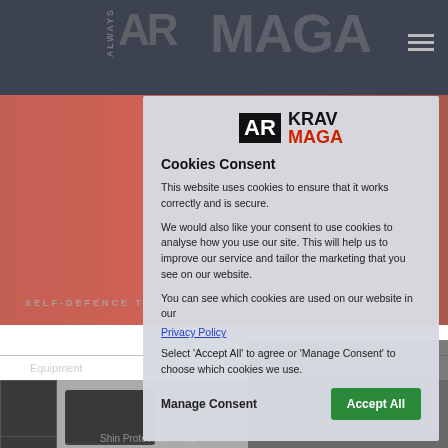[Figure (screenshot): Background of AR Krav Maga website showing product images of shin guards and equipment in dark grey header, red banner, and product listing area]
Cookies Consent
This website uses cookies to ensure that it works correctly and is secure.
We would also like your consent to use cookies to analyse how you use our site. This will help us to improve our service and tailor the marketing that you see on our website.
You can see which cookies are used on our website in our Privacy Policy
Select 'Accept All' to agree or 'Manage Consent' to choose which cookies we use.
Manage Consent
Accept All